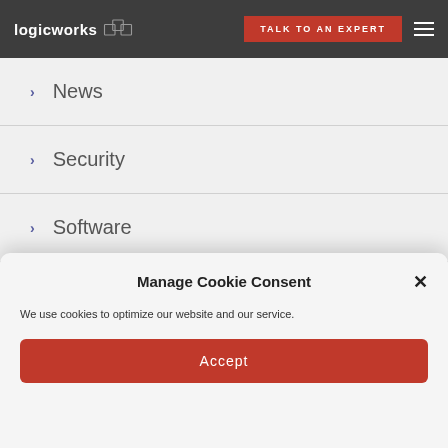logicworks | TALK TO AN EXPERT
News
Security
Software
Uncategorized
Manage Cookie Consent
We use cookies to optimize our website and our service.
Accept